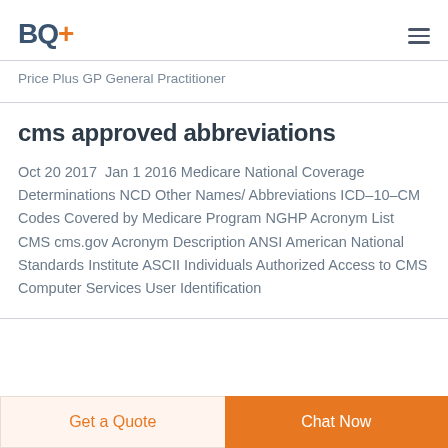BQ+
Price Plus GP General Practitioner
cms approved abbreviations
Oct 20 2017  Jan 1 2016 Medicare National Coverage Determinations NCD Other Names/ Abbreviations ICD–10–CM Codes Covered by Medicare Program NGHP Acronym List CMS cms.gov Acronym Description ANSI American National Standards Institute ASCII Individuals Authorized Access to CMS Computer Services User Identification